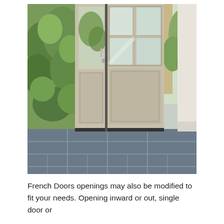[Figure (photo): Close-up photograph of a classic French door with glazed upper panels and raised lower panel, painted in a warm beige/taupe color. A silver door handle and lock are visible on the left side. Green leafy plants can be seen through the glass panels. The door is set on grey slate floor tiles.]
French Doors openings may also be modified to fit your needs. Opening inward or out, single door or